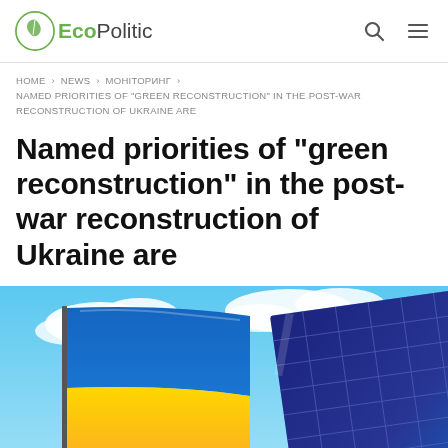EcoPolitic
HOME > NEWS > МОНІТОРИНГ > NAMED PRIORITIES OF "GREEN RECONSTRUCTION" IN THE POST-WAR RECONSTRUCTION OF UKRAINE ARE
Named priorities of "green reconstruction" in the post-war reconstruction of Ukraine are
[Figure (photo): Ukrainian flag waving against a blue sky with clouds, alongside solar panels, illustrating green reconstruction theme]